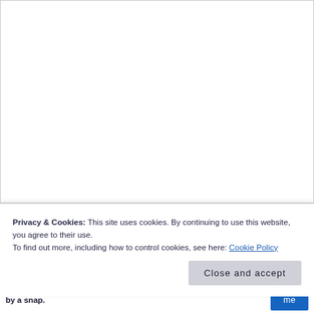[Figure (screenshot): White document page area, partially visible, mostly blank white space representing a web page content area.]
Privacy & Cookies: This site uses cookies. By continuing to use this website, you agree to their use.
To find out more, including how to control cookies, see here: Cookie Policy
Close and accept
by a snap.